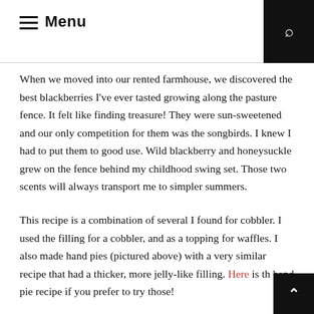Menu
When we moved into our rented farmhouse, we discovered the best blackberries I've ever tasted growing along the pasture fence. It felt like finding treasure! They were sun-sweetened and our only competition for them was the songbirds. I knew I had to put them to good use. Wild blackberry and honeysuckle grew on the fence behind my childhood swing set. Those two scents will always transport me to simpler summers.
This recipe is a combination of several I found for cobbler. I used the filling for a cobbler, and as a topping for waffles. I also made hand pies (pictured above) with a very similar recipe that had a thicker, more jelly-like filling. Here is th hand pie recipe if you prefer to try those!